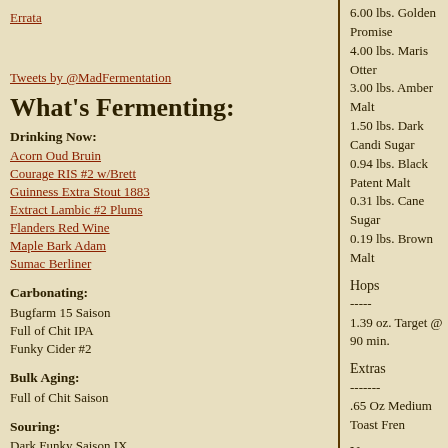Errata
Tweets by @MadFermentation
What's Fermenting:
Drinking Now:
Acorn Oud Bruin
Courage RIS #2 w/Brett
Guinness Extra Stout 1883
Extract Lambic #2 Plums
Flanders Red Wine
Maple Bark Adam
Sumac Berliner
Carbonating:
Bugfarm 15 Saison
Full of Chit IPA
Funky Cider #2
Bulk Aging:
Full of Chit Saison
Souring:
Dark Funky Saison IX
Double Pom Dubbel
Gruit Gose Long
6.00 lbs. Golden Promise
4.00 lbs. Maris Otter
3.00 lbs. Amber Malt
1.50 lbs. Dark Candi Sugar
0.94 lbs. Black Patent Malt
0.31 lbs. Cane Sugar
0.19 lbs. Brown Malt
Hops
-----
1.39 oz. Target @ 90 min.
Extras
-------
.65 Oz Medium Toast Fren
Yeast
-----
WYeast 1028 London Ale
Water Profile
-------------
Profile: Courage RIS